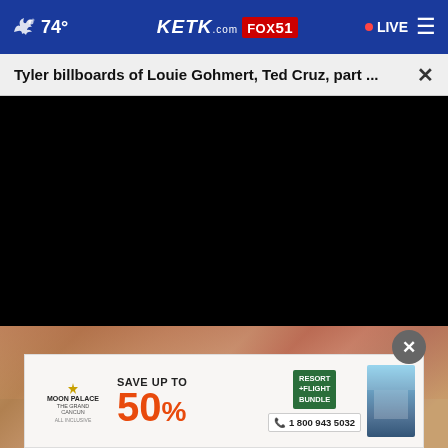74° KETK.com FOX51 • LIVE
Tyler billboards of Louie Gohmert, Ted Cruz, part ...
[Figure (screenshot): Black video player area (video not loaded/playing)]
[Figure (photo): Partial photo visible below video area showing decorative textile or food imagery with warm brown/red tones]
[Figure (infographic): Advertisement banner for Moon Palace The Grand Cancun: SAVE UP TO 50% with Resort + Flight Bundle, call 1 800 943 5032]